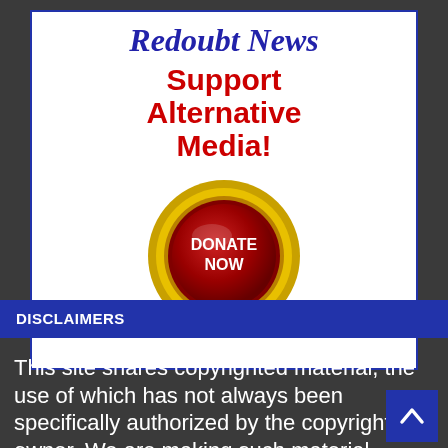[Figure (illustration): Redoubt News donation card with gold and red donate now button, white background, blue border. Title 'Redoubt News' in italic blue script, 'Support Alternative Media!' in bold red text, and a gold circle with red button labeled 'DONATE NOW'.]
DISCLAIMERS
This site shares copyrighted material, the use of which has not always been specifically authorized by the copyright owner. We are making such material available in our efforts for transparency